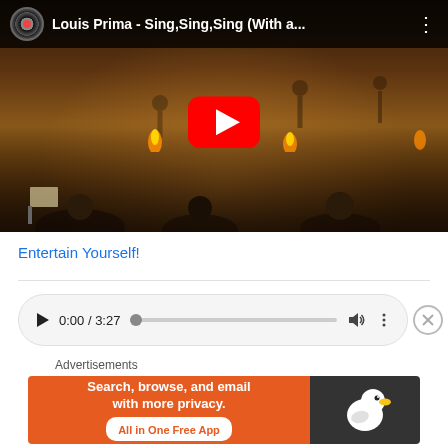[Figure (screenshot): YouTube video thumbnail for 'Louis Prima - Sing,Sing,Sing (With a...' showing a ballroom dance scene with a large orchestra and dancers, with a red YouTube play button in the center. Top bar shows vinyl record icon, video title, and three-dots menu.]
Entertain Yourself!
[Figure (screenshot): Audio/video player controls showing play button, time 0:00 / 3:27, a progress bar, volume icon, and three-dots menu. An X close button appears to the right.]
Advertisements
[Figure (screenshot): DuckDuckGo advertisement banner: orange/dark background with text 'Search, browse, and email with more privacy. All in One Free App' and DuckDuckGo duck logo on the right.]